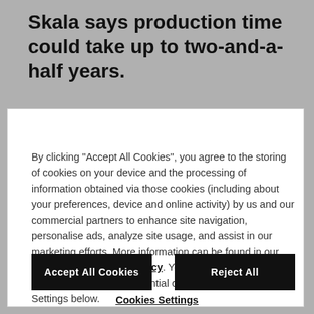Skala says production time could take up to two-and-a-half years.
By clicking "Accept All Cookies", you agree to the storing of cookies on your device and the processing of information obtained via those cookies (including about your preferences, device and online activity) by us and our commercial partners to enhance site navigation, personalise ads, analyze site usage, and assist in our marketing efforts. More information can be found in our Cookies and Privacy Policy. You can amend your cookie settings to reject non-essential cookies by clicking Cookie Settings below.
Accept All Cookies
Reject All
Cookies Settings